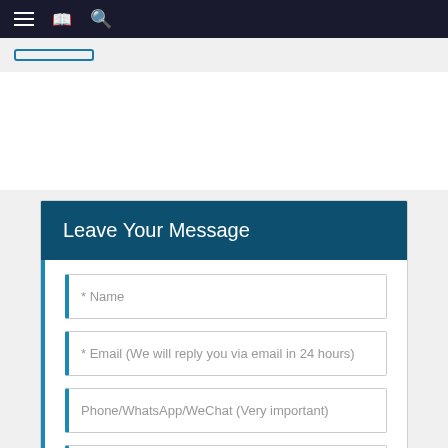Navigation bar with hamburger menu, book icon, and search icon
Leave Your Message
* Name
* Email (We will reply you via email in 24 hours)
Phone/WhatsApp/WeChat (Very important)
* Enter product details such as size, color, materials etc. and other specific requirements to receive an accurate quote.